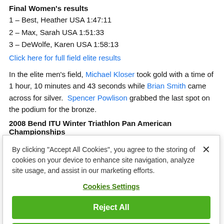Final Women's results
1 – Best, Heather USA 1:47:11
2 – Max, Sarah USA 1:51:33
3 – DeWolfe, Karen USA 1:58:13
Click here for full field elite results
In the elite men's field, Michael Kloser took gold with a time of 1 hour, 10 minutes and 43 seconds while Brian Smith came across for silver. Spencer Powlison grabbed the last spot on the podium for the bronze.
2008 Bend ITU Winter Triathlon Pan American Championships
Final Men's results
By clicking "Accept All Cookies", you agree to the storing of cookies on your device to enhance site navigation, analyze site usage, and assist in our marketing efforts.
Cookies Settings
Reject All
Accept All Cookies